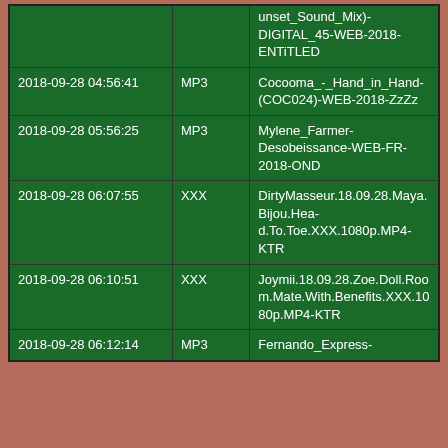|  |  | unset_Sound_Mix)-DIGITAL_45-WEB-2018-ENTiTLED |
| 2018-09-28 04:56:41 | MP3 | Cocooma_-_Hand_in_Hand-(COC024)-WEB-2018-ZzZz |
| 2018-09-28 05:56:25 | MP3 | Mylene_Farmer-Desobeissance-WEB-FR-2018-OND |
| 2018-09-28 06:07:55 | XXX | DirtyMasseur.18.09.28.Maya.Bijou.Head.To.Toe.XXX.1080p.MP4-KTR |
| 2018-09-28 06:10:51 | XXX | Joymii.18.09.28.Zoe.Doll.Room.Mate.With.Benefits.XXX.1080p.MP4-KTR |
| 2018-09-28 06:12:14 | MP3 | Fernando_Express-... |